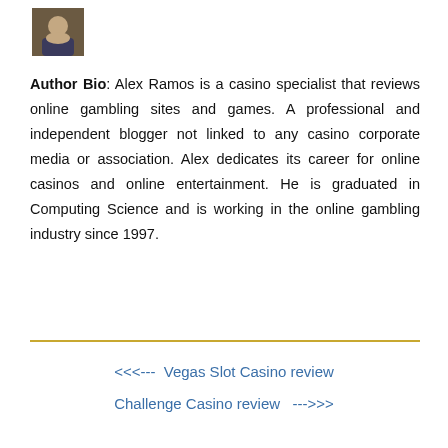[Figure (photo): Small author photo of Alex Ramos]
Author Bio: Alex Ramos is a casino specialist that reviews online gambling sites and games. A professional and independent blogger not linked to any casino corporate media or association. Alex dedicates its career for online casinos and online entertainment. He is graduated in Computing Science and is working in the online gambling industry since 1997.
<<<---  Vegas Slot Casino review
Challenge Casino review   --->>>